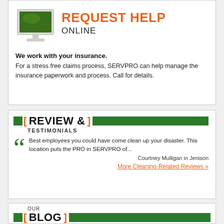[Figure (illustration): Green computer monitor icon representing online request help]
REQUEST HELP ONLINE
We work with your insurance. For a stress free claims process, SERVPRO can help manage the insurance paperwork and process. Call for details.
REVIEW & TESTIMONIALS
Best employees you could have come clean up your disaster. This location puts the PRO in SERVPRO of...
Courtney Mulligan in Jenison
More Cleaning-Related Reviews »
OUR BLOG